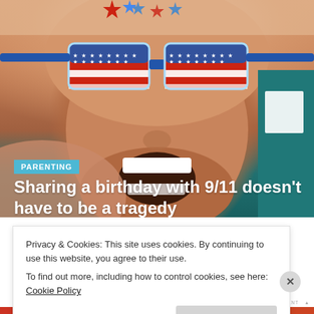[Figure (photo): Child wearing American flag novelty glasses, mouth open wide, laughing. Stars and stripes pattern glasses in red, white, and blue. Teal shirt visible on right.]
PARENTING
Sharing a birthday with 9/11 doesn't have to be a tragedy
BY BRINGINGUPGAYBIES
SEPTEMBER 11, 2019
COMMENTS 2
Privacy & Cookies: This site uses cookies. By continuing to use this website, you agree to their use.
To find out more, including how to control cookies, see here: Cookie Policy
Close and accept